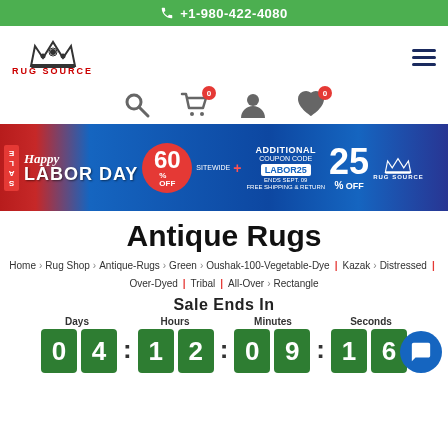+1-980-422-4080
[Figure (logo): Rug Source logo with crown and red text]
[Figure (infographic): Happy Labor Day Sale banner: 60% off sitewide + additional 25% off with coupon LABOR25, free shipping and return]
Antique Rugs
Home > Rug Shop > Antique-Rugs > Green > Oushak-100-Vegetable-Dye | Kazak > Distressed | Over-Dyed | Tribal | All-Over > Rectangle
Sale Ends In
Days: 04  Hours: 12  Minutes: 09  Seconds: 16